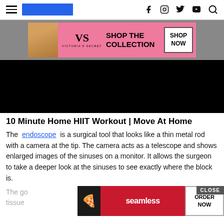Navigation bar with hamburger menu, logo, and social icons (Facebook, Instagram, Twitter, YouTube, Search)
[Figure (illustration): Victoria's Secret advertisement banner showing a woman's face on pink background with 'SHOP THE COLLECTION' text and 'SHOP NOW' button]
[Figure (screenshot): Black video player area for '10 Minute Home HIIT Workout | Move At Home']
10 Minute Home HIIT Workout | Move At Home
The endoscope is a surgical tool that looks like a thin metal rod with a camera at the tip. The camera acts as a telescope and shows enlarged images of the sinuses on a monitor. It allows the surgeon to take a deeper look at the sinuses to see exactly where the block is.
[Figure (illustration): Seamless food delivery advertisement overlay with pizza image, 'seamless' branding and 'ORDER NOW' button. Has a 'CLOSE' button in upper right. Partially covers text below.]
The go[al of the surgery is to remove infla]med tissue [and open up blocked sinuses.]